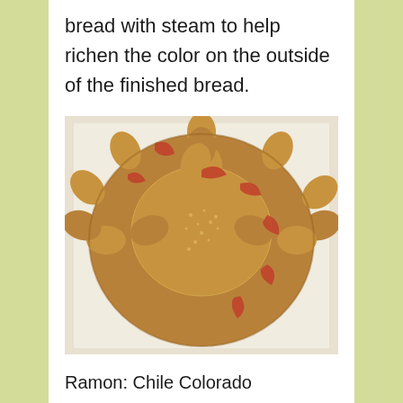bread with steam to help richen the color on the outside of the finished bread.
[Figure (photo): A round braided bread with a sunflower-like design, covered in sesame seeds on top, with visible fruit or jam filling between the braided sections, placed on white parchment paper.]
Ramon: Chile Colorado
Ramon offered us Chile Colorado tacos, corn tortillas filled with what